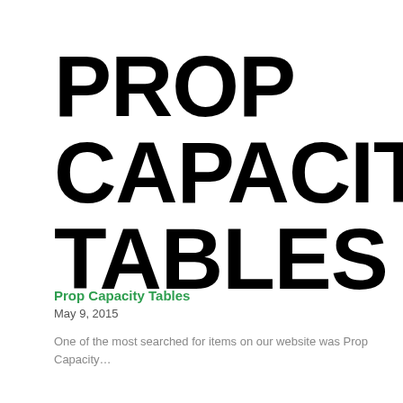PROP CAPACITY TABLES
Prop Capacity Tables
May 9, 2015
One of the most searched for items on our website was Prop Capacity…